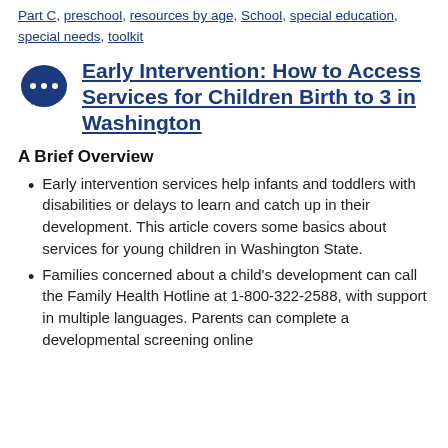Part C, preschool, resources by age, School, special education, special needs, toolkit
Early Intervention: How to Access Services for Children Birth to 3 in Washington
A Brief Overview
Early intervention services help infants and toddlers with disabilities or delays to learn and catch up in their development. This article covers some basics about services for young children in Washington State.
Families concerned about a child's development can call the Family Health Hotline at 1-800-322-2588, with support in multiple languages. Parents can complete a developmental screening online